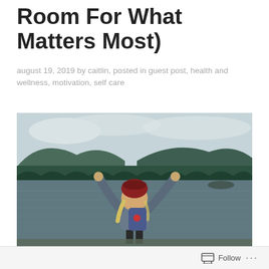Room For What Matters Most)
august 19, 2019 by caitlin, posted in guest post, health and wellness, motivation, self care
[Figure (photo): A person with blonde hair wearing a grey hoodie and red beanie with a backpack, standing at the edge of a lake with both arms raised in a celebratory pose, with a forested mountain and cloudy sky in the background.]
Follow ...